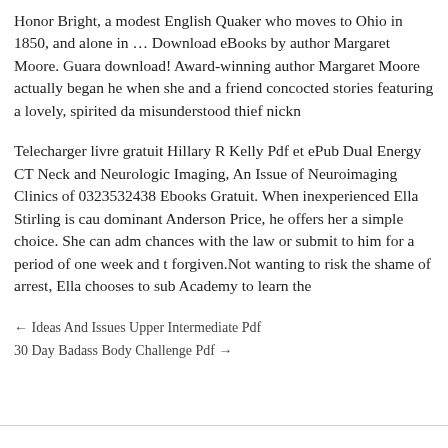Honor Bright, a modest English Quaker who moves to Ohio in 1850, and alone in … Download eBooks by author Margaret Moore. Guara download! Award-winning author Margaret Moore actually began he when she and a friend concocted stories featuring a lovely, spirited da misunderstood thief nickn
Telecharger livre gratuit Hillary R Kelly Pdf et ePub Dual Energy CT Neck and Neurologic Imaging, An Issue of Neuroimaging Clinics of 0323532438 Ebooks Gratuit. When inexperienced Ella Stirling is cau dominant Anderson Price, he offers her a simple choice. She can adm chances with the law or submit to him for a period of one week and t forgiven.Not wanting to risk the shame of arrest, Ella chooses to sub Academy to learn the
← Ideas And Issues Upper Intermediate Pdf
30 Day Badass Body Challenge Pdf →